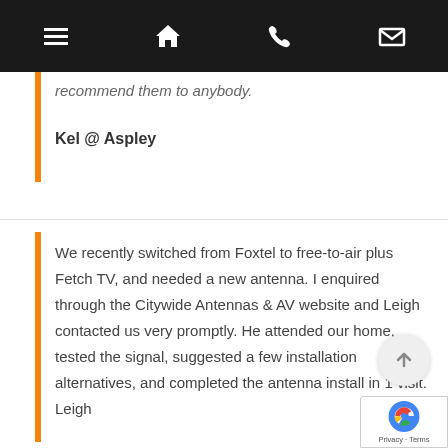[Navigation bar with menu, home, phone, and email icons]
recommend them to anybody.
Kel @ Aspley
We recently switched from Foxtel to free-to-air plus Fetch TV, and needed a new antenna. I enquired through the Citywide Antennas & AV website and Leigh contacted us very promptly. He attended our home, tested the signal, suggested a few installation alternatives, and completed the antenna install in 1 visit. Leigh